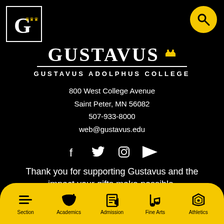[Figure (logo): Gustavus Adolphus College logo — stylized letter G in white box]
[Figure (logo): Yellow circle search icon in top right corner]
GUSTAVUS
GUSTAVUS ADOLPHUS COLLEGE
800 West College Avenue
Saint Peter, MN 56082
507-933-8000
web@gustavus.edu
[Figure (infographic): Social media icons: Facebook, Twitter, Instagram, YouTube]
Thank you for supporting Gustavus and the impact your gifts make possible.
SUPPORT GUSTAVUS
[Figure (infographic): Bottom navigation bar with icons: Section, Academics, Admission, Fine Arts, Athletics]